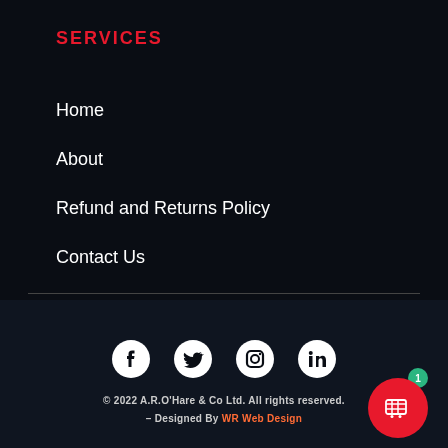SERVICES
Home
About
Refund and Returns Policy
Contact Us
[Figure (infographic): Social media icons: Facebook, Twitter, Instagram, LinkedIn]
© 2022 A.R.O'Hare & Co Ltd. All rights reserved. – Designed By WR Web Design